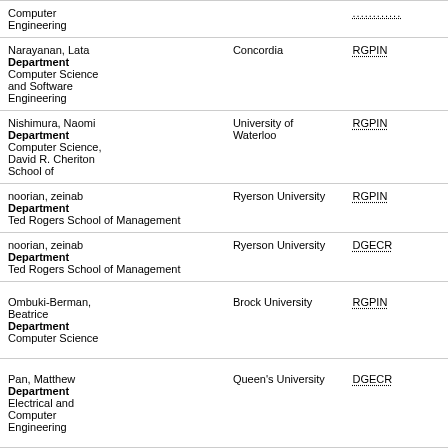| Name / Department | Institution | Grant Type |
| --- | --- | --- |
| Computer Engineering |  | ........... |
| Narayanan, Lata
Department
Computer Science and Software Engineering | Concordia | RGPIN |
| Nishimura, Naomi
Department
Computer Science, David R. Cheriton School of | University of Waterloo | RGPIN |
| noorian, zeinab
Department
Ted Rogers School of Management | Ryerson University | RGPIN |
| noorian, zeinab
Department
Ted Rogers School of Management | Ryerson University | DGECR |
| Ombuki-Berman, Beatrice
Department
Computer Science | Brock University | RGPIN |
| Pan, Matthew
Department
Electrical and Computer Engineering | Queen's University | DGECR |